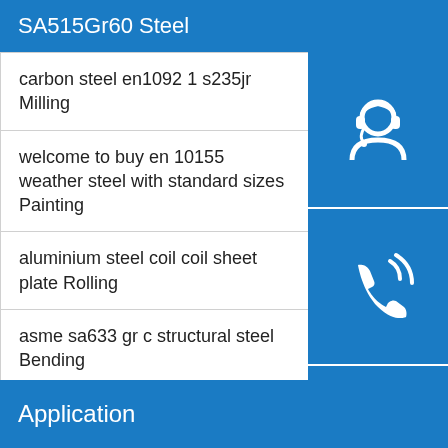SA515Gr60 Steel
carbon steel en1092 1 s235jr Milling
welcome to buy en 10155 weather steel with standard sizes Painting
aluminium steel coil coil sheet plate Rolling
asme sa633 gr c structural steel Bending
p460q carbon equivalent Decoiling
how to determine bending radius multi cable corporation boring
[Figure (illustration): Three blue icon buttons on the right side: a customer support/headphones icon, a phone/call icon, and a Skype icon]
Application